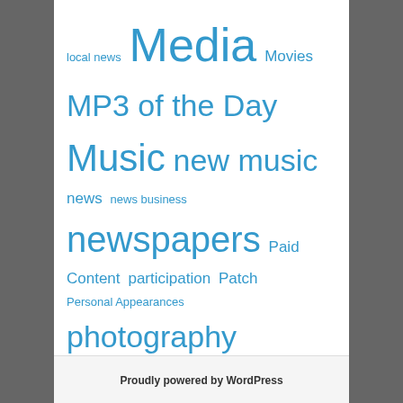local news Media Movies MP3 of the Day Music new music news news business newspapers Paid Content participation Patch Personal Appearances photography Reinventing Journalism reporting Site Design Society Sports Strategy Tech television topix Video Web-First Publishing web2.0 web navigation Writing
META
Register
Log in
Entries RSS
Proudly powered by WordPress